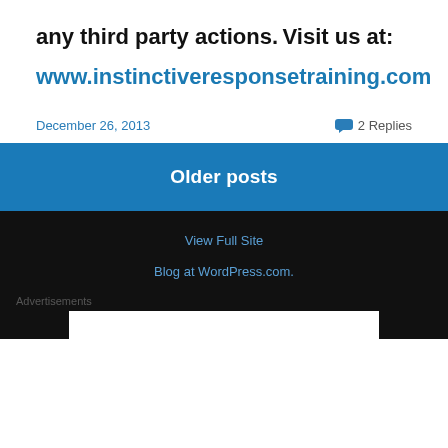any third party actions.
Visit us at:
www.instinctiveresponsetraining.com
December 26, 2013   2 Replies
Older posts
View Full Site
Blog at WordPress.com.
Advertisements